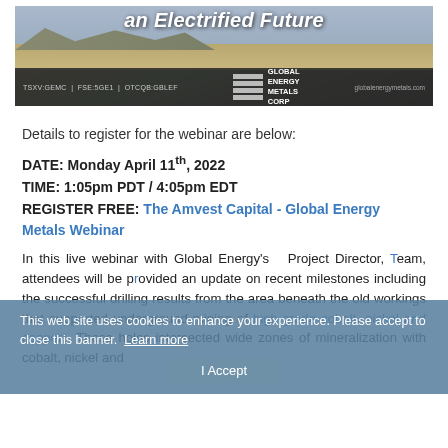[Figure (illustration): Banner image with desert landscape background, title text 'an Electrified Future' in white italic bold font, Global Energy Metals Corp logo with horizontal bars on dark bottom strip, ticker symbols TSXV:GEMC | FSE:5GE1 | OTCQB:GBLEF and URL globalenergymetals.com]
Details to register for the webinar are below:
DATE: Monday April 11th, 2022
TIME: 1:05pm PDT / 4:05pm EDT
REGISTER FREE: The Amvest Capital - Global Energy Metals Webinar
In this live webinar with Global Energy's Project Director, attendees will be provided an update on recent milestones including the successful drilling results from the area beneath the old workings that supported underground mining of high-grade cobalt, nickel and copper. These holes intersected wide zones of mineralization with cobalt, nickel and
This web site uses cookies to enhance your experience. Please accept to close this banner. Learn more   I Accept